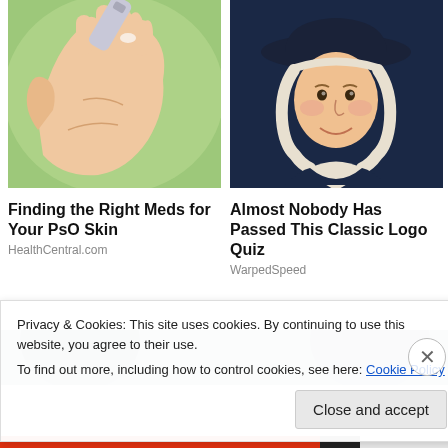[Figure (photo): Hand with cream being applied from a tube, green background]
Finding the Right Meds for Your PsO Skin
HealthCentral.com
[Figure (illustration): Quaker Oats mascot - man in colonial hat and white cravat]
Almost Nobody Has Passed This Classic Logo Quiz
WarpedSpeed
[Figure (photo): Partial photo showing people's heads outdoors]
Privacy & Cookies: This site uses cookies. By continuing to use this website, you agree to their use.
To find out more, including how to control cookies, see here: Cookie Policy
Close and accept